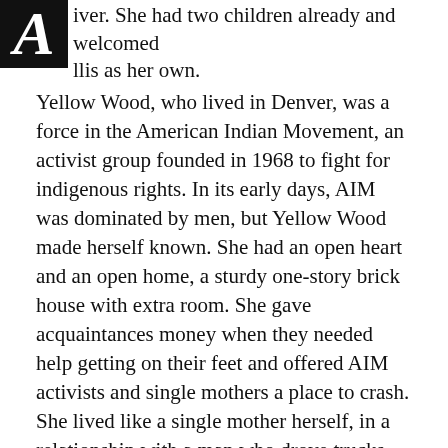iver. She had two children already and welcomed Allis as her own.
Yellow Wood, who lived in Denver, was a force in the American Indian Movement, an activist group founded in 1968 to fight for indigenous rights. In its early days, AIM was dominated by men, but Yellow Wood made herself known. She had an open heart and an open home, a sturdy one-story brick house with extra room. She gave acquaintances money when they needed help getting on their feet and offered AIM activists and single mothers a place to crash. She lived like a single mother herself, in a relationship with a man who drove trucks and only came around every once in a while.
From an early age, Fallis was outgoing and mischievous. She liked playing pranks on her